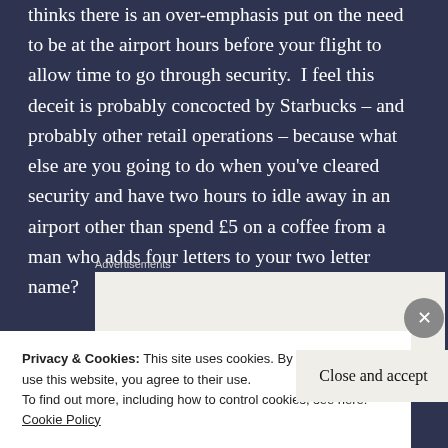thinks there is an over-emphasis put on the need to be at the airport hours before your flight to allow time to go through security. I feel this deceit is probably concocted by Starbucks – and probably other retail operations – because what else are you going to do when you've cleared security and have two hours to idle away in an airport other than spend £5 on a coffee from a man who adds four letters to your two letter name?
Advertisements
[Figure (screenshot): Advertisement box with text 'Business in' in large bold font on a light beige background]
Privacy & Cookies: This site uses cookies. By continuing to use this website, you agree to their use.
To find out more, including how to control cookies, see here: Cookie Policy
Close and accept